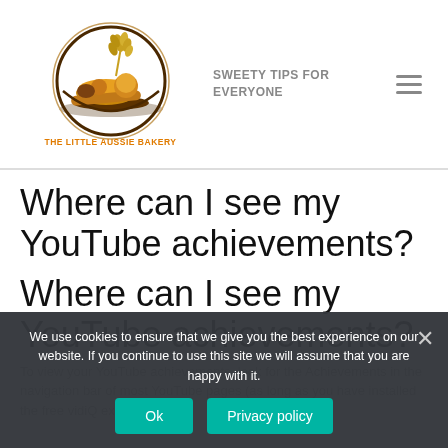[Figure (logo): The Little Aussie Bakery logo: circular emblem with bread, baked goods, and wheat stalk illustration]
SWEETY TIPS FOR EVERYONE
Where can I see my YouTube achievements?
Where can I see my YouTube achievements?
To view your YouTube achievements, look for the Achievements in the navigation bar of most YouTube pages (as long as you have installed the free vidiQ extension).
We use cookies to ensure that we give you the best experience on our website. If you continue to use this site we will assume that you are happy with it.